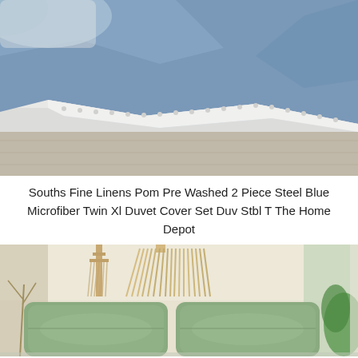[Figure (photo): Photo of a blue microfiber duvet cover set on a bed, showing steel blue fabric with white trim/edge detail, folded over white bedding on a light wood floor background.]
Souths Fine Linens Pom Pre Washed 2 Piece Steel Blue Microfiber Twin Xl Duvet Cover Set Duv Stbl T The Home Depot
[Figure (photo): Photo of a bed with sage green pillows and bedding, with macrame wall hangings on a beige/cream wall, plants visible at the sides.]